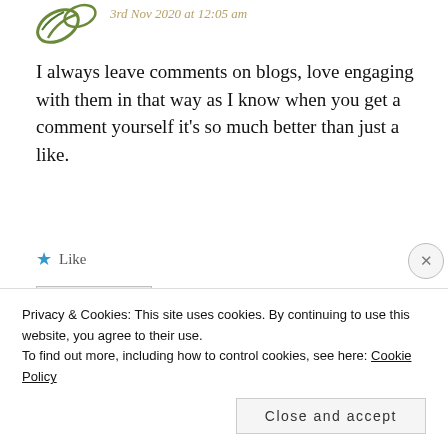3rd Nov 2020 at 12:05 am
I always leave comments on blogs, love engaging with them in that way as I know when you get a comment yourself it's so much better than just a like.
Like
REPLY
ERIN AZMIR
Privacy & Cookies: This site uses cookies. By continuing to use this website, you agree to their use.
To find out more, including how to control cookies, see here: Cookie Policy
Close and accept